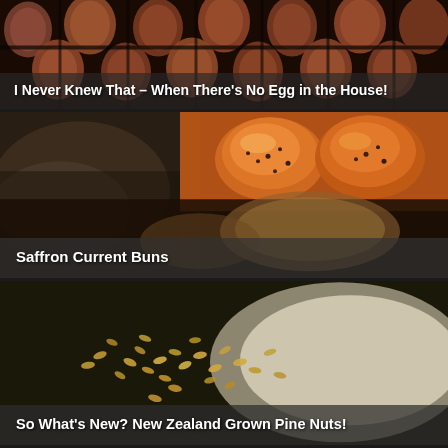[Figure (photo): Close-up of brown eggs in an egg carton/tray, dark background]
I Never Knew That – When There's No Egg in the House!
[Figure (photo): Saffron current buns - golden brown glazed bread rolls with currants, alongside flour and dough]
Saffron Current Buns
[Figure (photo): Pine nuts scattered on a white plate/surface, close-up macro shot]
So What's New? New Zealand Grown Pine Nuts!
[Figure (photo): Partial view of food dishes at the bottom of the page]